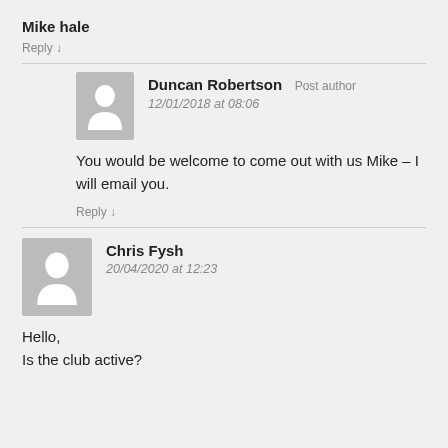Mike hale
Reply ↓
Duncan Robertson  Post author
12/01/2018 at 08:06
You would be welcome to come out with us Mike – I will email you.
Reply ↓
Chris Fysh
20/04/2020 at 12:23
Hello,
Is the club active?